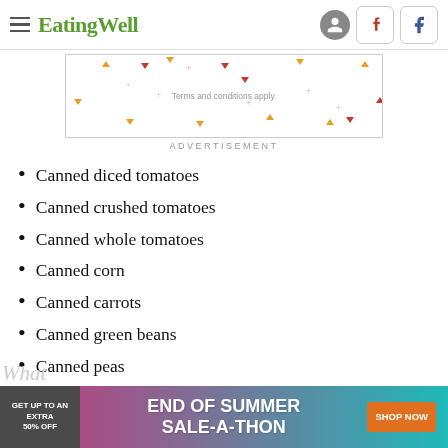EatingWell
[Figure (other): Advertisement banner with colored triangle decorations and text 'Terms and conditions apply.']
ADVERTISEMENT
Canned diced tomatoes
Canned crushed tomatoes
Canned whole tomatoes
Canned corn
Canned carrots
Canned green beans
Canned peas
[Figure (other): Bottom advertisement banner: GET UP TO AN EXTRA 50% OFF  END OF SUMMER SALE-A-THON  SHOP NOW]